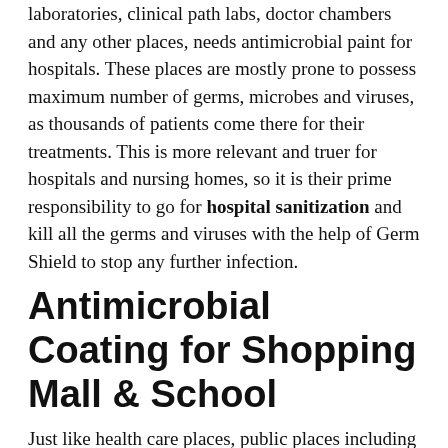laboratories, clinical path labs, doctor chambers and any other places, needs antimicrobial paint for hospitals. These places are mostly prone to possess maximum number of germs, microbes and viruses, as thousands of patients come there for their treatments. This is more relevant and truer for hospitals and nursing homes, so it is their prime responsibility to go for hospital sanitization and kill all the germs and viruses with the help of Germ Shield to stop any further infection.
Antimicrobial Coating for Shopping Mall & School
Just like health care places, public places including schools, colleges, banks, elevators, shopping malls, public transport, etc. should also get the antimicrobial treatment for shopping mall and school. A place where more